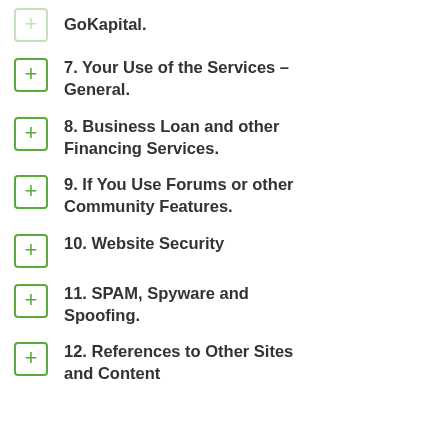GoKapital.
7. Your Use of the Services – General.
8. Business Loan and other Financing Services.
9. If You Use Forums or other Community Features.
10. Website Security
11. SPAM, Spyware and Spoofing.
12. References to Other Sites and Content